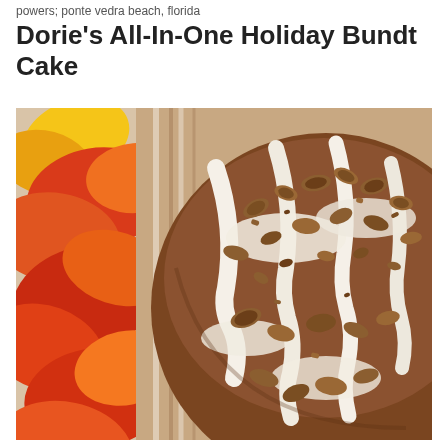powers; ponte vedra beach, florida
Dorie's All-In-One Holiday Bundt Cake
[Figure (photo): Close-up photograph of a glazed Bundt cake topped with chopped pecans, surrounded by colorful autumn leaves in red, orange, and yellow on a striped background.]